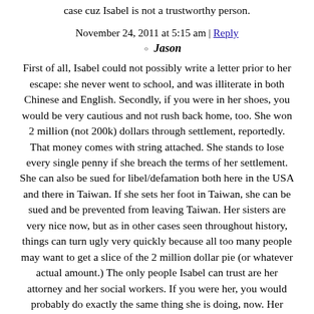case cuz Isabel is not a trustworthy person.
November 24, 2011 at 5:15 am | Reply
Jason
First of all, Isabel could not possibly write a letter prior to her escape: she never went to school, and was illiterate in both Chinese and English. Secondly, if you were in her shoes, you would be very cautious and not rush back home, too. She won 2 million (not 200k) dollars through settlement, reportedly. That money comes with string attached. She stands to lose every single penny if she breach the terms of her settlement. She can also be sued for libel/defamation both here in the USA and there in Taiwan. If she sets her foot in Taiwan, she can be sued and be prevented from leaving Taiwan. Her sisters are very nice now, but as in other cases seen throughout history, things can turn ugly very quickly because all too many people may want to get a slice of the 2 million dollar pie (or whatever actual amount.) The only people Isabel can trust are her attorney and her social workers. If you were her, you would probably do exactly the same thing she is doing, now. Her mother is doing the right thing: telling Isabel that the only thing she wants is to